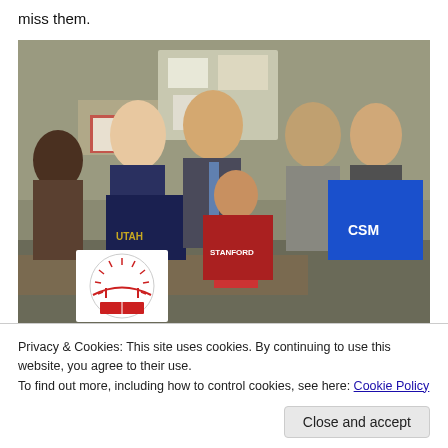miss them.
[Figure (photo): Group photo of students and adults holding up college sweatshirts (UC Davis, Stanford, CSM) in a classroom setting. A school logo is visible in the lower left.]
Privacy & Cookies: This site uses cookies. By continuing to use this website, you agree to their use.
To find out more, including how to control cookies, see here: Cookie Policy
Close and accept